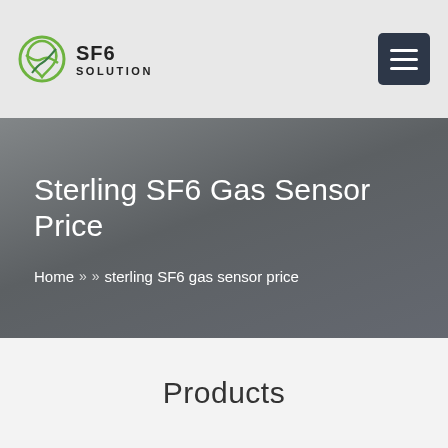SF6 SOLUTION
Sterling SF6 Gas Sensor Price
Home » » sterling SF6 gas sensor price
Products